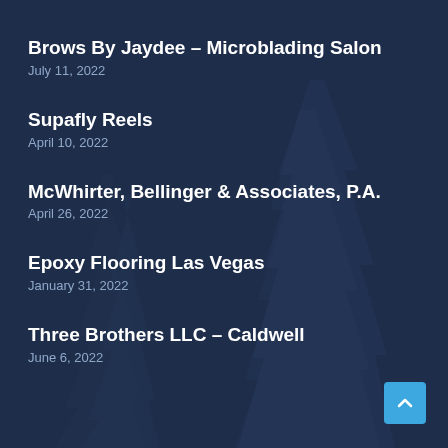Brows By Jaydee – Microblading Salon
July 11, 2022
Supafly Reels
April 10, 2022
McWhirter, Bellinger & Associates, P.A.
April 26, 2022
Epoxy Flooring Las Vegas
January 31, 2022
Three Brothers LLC – Caldwell
June 6, 2022